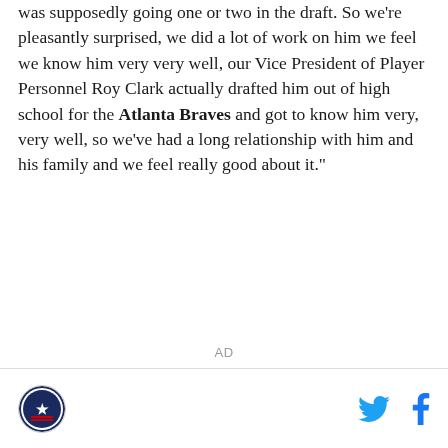was supposedly going one or two in the draft. So we're pleasantly surprised, we did a lot of work on him we feel we know him very very well, our Vice President of Player Personnel Roy Clark actually drafted him out of high school for the Atlanta Braves and got to know him very, very well, so we've had a long relationship with him and his family and we feel really good about it."
AD
[SB Nation logo] [Twitter icon] [Facebook icon]